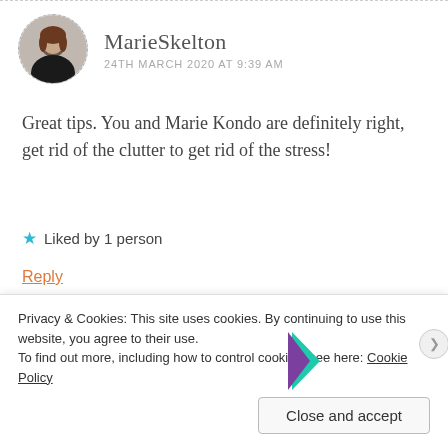MarieSkelton
24TH MARCH 2020 AT 9:39 AM
Great tips. You and Marie Kondo are definitely right, get rid of the clutter to get rid of the stress!
★ Liked by 1 person
Reply
Advertisements
[Figure (illustration): WooCommerce advertisement banner: purple background with WooCommerce logo and arrow pointing right, text 'How to start selling subscriptions online']
Privacy & Cookies: This site uses cookies. By continuing to use this website, you agree to their use.
To find out more, including how to control cookies, see here: Cookie Policy
Close and accept